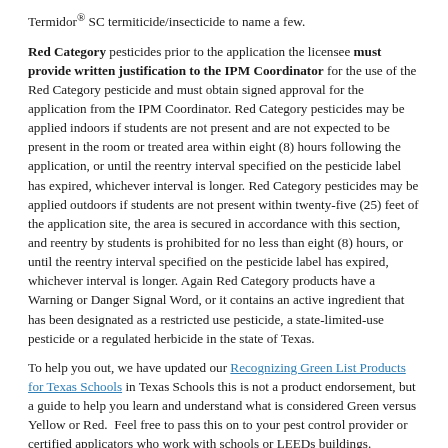Termidor® SC termiticide/insecticide to name a few.
Red Category pesticides prior to the application the licensee must provide written justification to the IPM Coordinator for the use of the Red Category pesticide and must obtain signed approval for the application from the IPM Coordinator. Red Category pesticides may be applied indoors if students are not present and are not expected to be present in the room or treated area within eight (8) hours following the application, or until the reentry interval specified on the pesticide label has expired, whichever interval is longer. Red Category pesticides may be applied outdoors if students are not present within twenty-five (25) feet of the application site, the area is secured in accordance with this section, and reentry by students is prohibited for no less than eight (8) hours, or until the reentry interval specified on the pesticide label has expired, whichever interval is longer. Again Red Category products have a Warning or Danger Signal Word, or it contains an active ingredient that has been designated as a restricted use pesticide, a state-limited-use pesticide or a regulated herbicide in the state of Texas.
To help you out, we have updated our Recognizing Green List Products for Texas Schools in Texas Schools this is not a product endorsement, but a guide to help you learn and understand what is considered Green versus Yellow or Red.  Feel free to pass this on to your pest control provider or certified applicators who work with schools or LEEDs buildings.